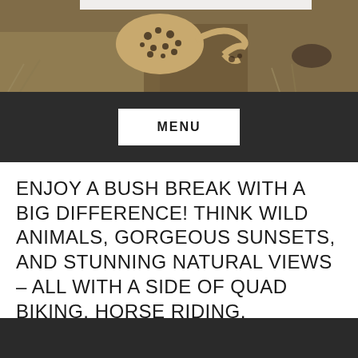[Figure (photo): Wildlife photo strip at top showing a cheetah or leopard with spotted coat in dry bush landscape]
MENU
ENJOY A BUSH BREAK WITH A BIG DIFFERENCE! THINK WILD ANIMALS, GORGEOUS SUNSETS, AND STUNNING NATURAL VIEWS – ALL WITH A SIDE OF QUAD BIKING, HORSE RIDING, MOUNTAIN BIKING AND MORE.
[Figure (photo): Dark/night photo strip at bottom of page]